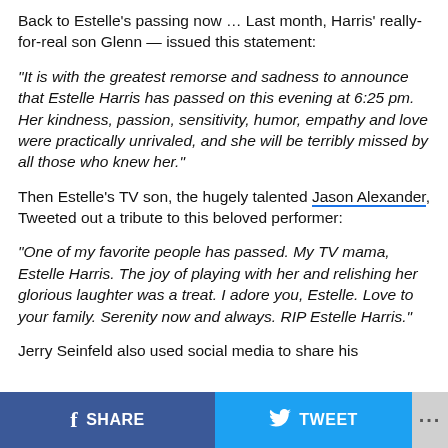Back to Estelle's passing now … Last month, Harris' really-for-real son Glenn — issued this statement:
“It is with the greatest remorse and sadness to announce that Estelle Harris has passed on this evening at 6:25 pm. Her kindness, passion, sensitivity, humor, empathy and love were practically unrivaled, and she will be terribly missed by all those who knew her.”
Then Estelle’s TV son, the hugely talented Jason Alexander, Tweeted out a tribute to this beloved performer:
“One of my favorite people has passed. My TV mama, Estelle Harris. The joy of playing with her and relishing her glorious laughter was a treat. I adore you, Estelle. Love to your family. Serenity now and always. RIP Estelle Harris.”
Jerry Seinfeld also used social media to share his
SHARE   TWEET   ...